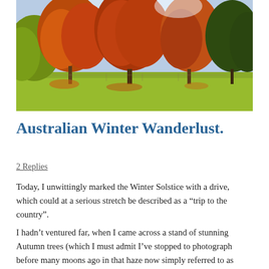[Figure (photo): Autumn trees with red, orange, and yellow foliage lining a green field under a bright sky. Wide landscape park scene with tall trees in full autumn colour.]
Australian Winter Wanderlust.
2 Replies
Today, I unwittingly marked the Winter Solstice with a drive, which could at a serious stretch be described as a “trip to the country”.
I hadn’t ventured far, when I came across a stand of stunning Autumn trees (which I must admit I’ve stopped to photograph before many moons ago in that haze now simply referred to as “before covid”.) Of course, I immediately pulled over and